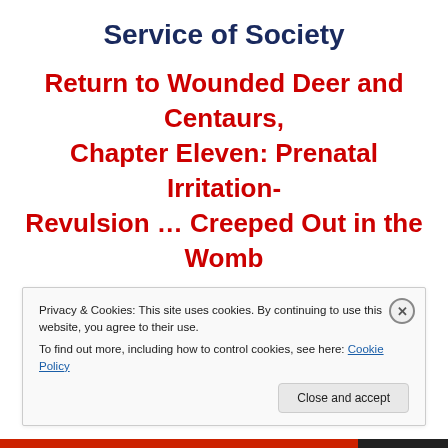Service of Society
Return to Wounded Deer and Centaurs, Chapter Eleven: Prenatal Irritation-Revulsion … Creeped Out in the Womb
To Read the Entire Book … on-line, free at
Privacy & Cookies: This site uses cookies. By continuing to use this website, you agree to their use. To find out more, including how to control cookies, see here: Cookie Policy